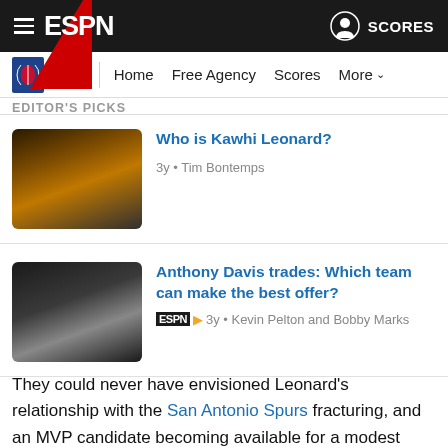ESPN — SCORES
NBA | Home | Free Agency | Scores | More
EDITOR'S PICKS
Who is Kawhi Leonard?
3y • Tim Bontemps
Anthony Davis trades: Which team can make the best offer?
ESPN+ 3y • Kevin Pelton and Bobby Marks
They could never have envisioned Leonard's relationship with the San Antonio Spurs fracturing, and an MVP candidate becoming available for a modest price. That was by far the most important step in Toronto's journey, and the hardest for any team looking to the Raptors for guidance to replicate.